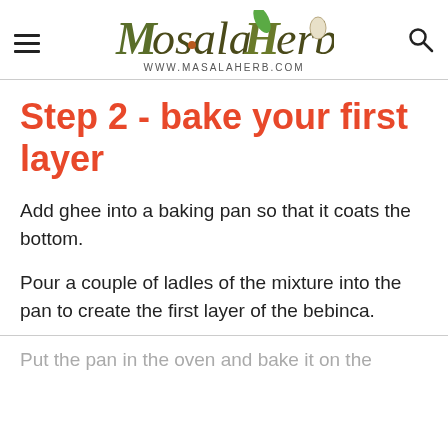Masala Herb — www.MasalaHerb.com
Step 2 - bake your first layer
Add ghee into a baking pan so that it coats the bottom.
Pour a couple of ladles of the mixture into the pan to create the first layer of the bebinca.
Put the pan in the oven and bake it on the